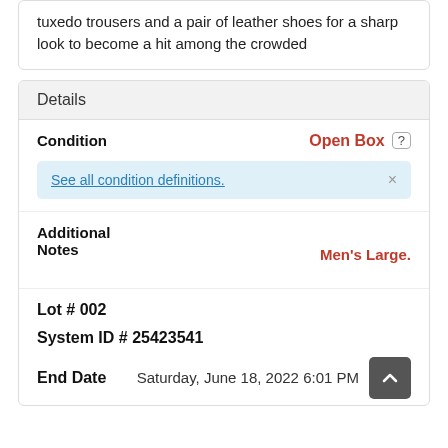tuxedo trousers and a pair of leather shoes for a sharp look to become a hit among the crowded
Details
| Field | Value |
| --- | --- |
| Condition | Open Box ? |
| Additional Notes | Men's Large. |
See all condition definitions.
Lot # 002
System ID # 25423541
End Date  Saturday, June 18, 2022 6:01 PM